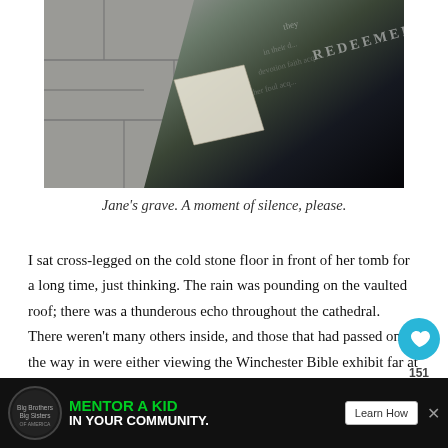[Figure (photo): Close-up photograph of Jane Austen's grave slab, showing dark stone with engraved text, partially visible words including 'REDEEMER', set against lighter stone floor tiles]
Jane's grave. A moment of silence, please.
I sat cross-legged on the cold stone floor in front of her tomb for a long time, just thinking. The rain was pounding on the vaulted roof; there was a thunderous echo throughout the cathedral. There weren't many others inside, and those that had passed on the way in were either viewing the Winchester Bible exhibit far at the other end or quietly reflecting in a nave elsewhere.